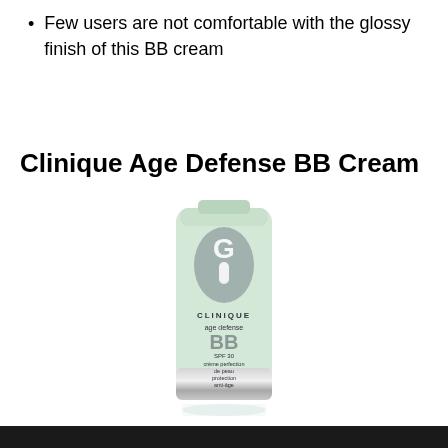Few users are not comfortable with the glossy finish of this BB cream
Clinique Age Defense BB Cream
[Figure (photo): Clinique Age Defense BB Cream tube in light green/mint color with silver cap, showing the Clinique logo and text: age defense BB, SPF 30, crème perfection de peau protection anti-âge]